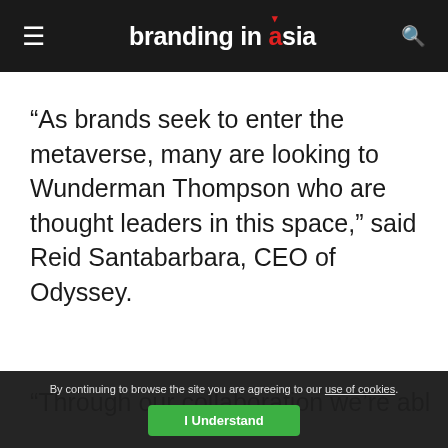branding in asia
“As brands seek to enter the metaverse, many are looking to Wunderman Thompson who are thought leaders in this space,” said Reid Santabarbara, CEO of Odyssey.
“Through our collaboration we’re able to
By continuing to browse the site you are agreeing to our use of cookies. I Understand